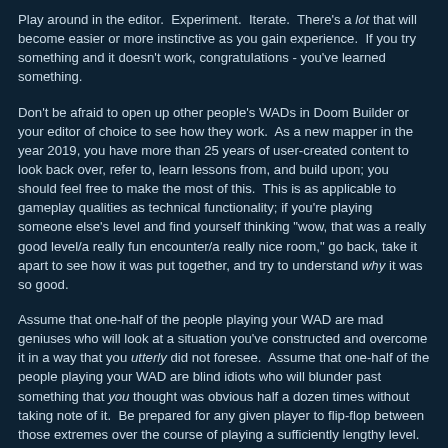Play around in the editor.  Experiment.  Iterate.  There's a lot that will become easier or more instinctive as you gain experience.  If you try something and it doesn't work, congratulations - you've learned something.
Don't be afraid to open up other people's WADs in Doom Builder or your editor of choice to see how they work.  As a new mapper in the year 2019, you have more than 25 years of user-created content to look back over, refer to, learn lessons from, and build upon; you should feel free to make the most of this.  This is as applicable to gameplay qualities as technical functionality; if you're playing someone else's level and find yourself thinking "wow, that was a really good level/a really fun encounter/a really nice room," go back, take it apart to see how it was put together, and try to understand why it was so good.
Assume that one-half of the people playing your WAD are mad geniuses who will look at a situation you've constructed and overcome it in a way that you utterly did not foresee.  Assume that one-half of the people playing your WAD are blind idiots who will blunder past something that you thought was obvious half a dozen times without taking note of it.  Be prepared for any given player to flip-flop between those extremes over the course of playing a sufficiently lengthy level.